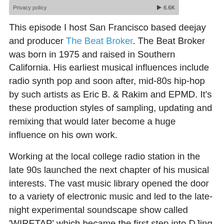[Figure (other): Audio player bar with 'Privacy policy' label on left and play button with '6.6K' on right, grey rounded rectangle background]
This episode I host San Francisco based deejay and producer The Beat Broker. The Beat Broker was born in 1975 and raised in Southern California. His earliest musical influences include radio synth pop and soon after, mid-80s hip-hop by such artists as Eric B. & Rakim and EPMD. It's these production styles of sampling, updating and remixing that would later become a huge influence on his own work.
Working at the local college radio station in the late 90s launched the next chapter of his musical interests. The vast music library opened the door to a variety of electronic music and led to the late-night experimental soundscape show called 'WIRETAP' which became the first step into DJing and studio time. With production partner Ryan Fitzgerald, the two decided to record their